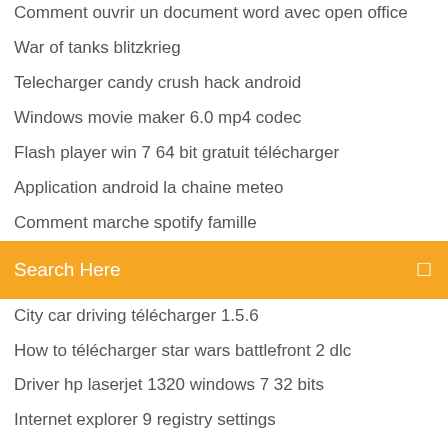Comment ouvrir un document word avec open office
War of tanks blitzkrieg
Telecharger candy crush hack android
Windows movie maker 6.0 mp4 codec
Flash player win 7 64 bit gratuit télécharger
Application android la chaine meteo
Comment marche spotify famille
[Figure (screenshot): Search bar with orange/yellow background showing 'Search Here' placeholder text and a search icon on the right]
City car driving télécharger 1.5.6
How to télécharger star wars battlefront 2 dlc
Driver hp laserjet 1320 windows 7 32 bits
Internet explorer 9 registry settings
Candy crush comment detruire mixeur magique
Télécharger warcraft 3 fr
Zombies vs plants 4-5
Get it over it free
Programme télé loisirs ce soir
Mot de passe sur dossier windows 8.1